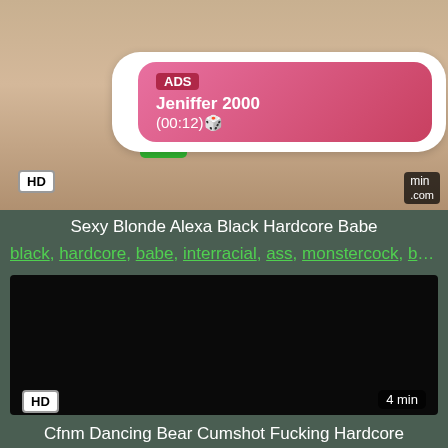[Figure (screenshot): Top video thumbnail showing a blonde woman, with HD badge and ad overlay popup featuring a profile photo, LIVE badge, ADS label, name Jeniffer 2000 and time (00:12)]
Sexy Blonde Alexa Black Hardcore Babe
black, hardcore, babe, interracial, ass, monstercock, bigb...
[Figure (screenshot): Bottom video thumbnail, dark/black screen with HD badge bottom-left and 4 min badge bottom-right]
Cfnm Dancing Bear Cumshot Fucking Hardcore